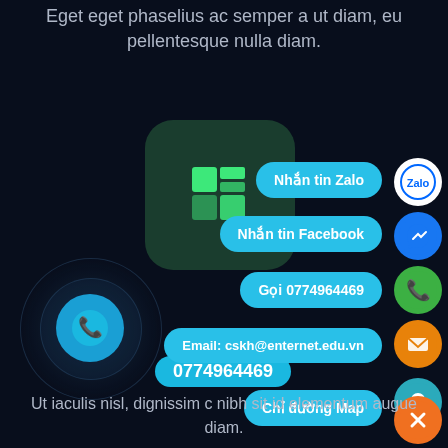Eget eget phaselius ac semper a ut diam, eu pellentesque nulla diam.
[Figure (screenshot): Dark-themed mobile app UI with a green rounded-square app icon containing a green Windows-style logo, a circular blue phone button with ripple rings, several cyan chat action buttons (Nhắn tin Zalo, Nhắn tin Facebook, Gọi 0774964469, Email: cskh@enternet.edu.vn, Chỉ đường Map) with corresponding circular social/action icons on the right (Zalo, Facebook Messenger, phone, email, map pin, close), a phone number label '0774964469', and a 'Video' label.]
Ut iaculis nisl, dignissim c nibh sit id elementum augue diam.